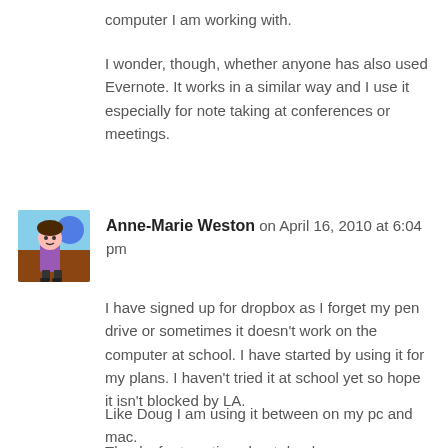computer I am working with.
I wonder, though, whether anyone has also used Evernote. It works in a similar way and I use it especially for note taking at conferences or meetings.
Anne-Marie Weston on April 16, 2010 at 6:04 pm
I have signed up for dropbox as I forget my pen drive or sometimes it doesn't work on the computer at school. I have started by using it for my plans. I haven't tried it at school yet so hope it isn't blocked by LA.
Like Doug I am using it between on my pc and mac.
Thanks for tweeting about dropbox